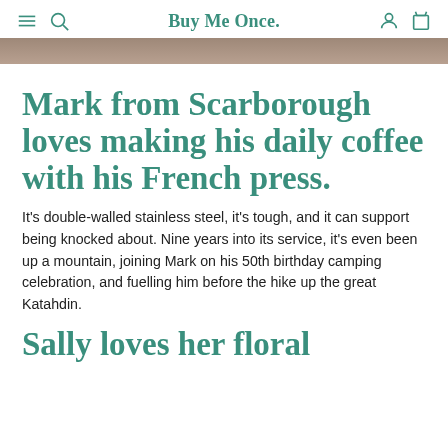Buy Me Once.
[Figure (photo): Partial image strip showing a dark/earthy image at the top of the page]
Mark from Scarborough loves making his daily coffee with his French press.
It's double-walled stainless steel, it's tough, and it can support being knocked about. Nine years into its service, it's even been up a mountain, joining Mark on his 50th birthday camping celebration, and fuelling him before the hike up the great Katahdin.
Sally loves her floral